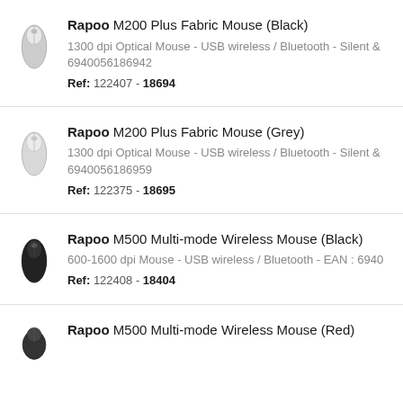Rapoo M200 Plus Fabric Mouse (Black) - 1300 dpi Optical Mouse - USB wireless / Bluetooth - Silent - 6940056186942 - Ref: 122407 - 18694
Rapoo M200 Plus Fabric Mouse (Grey) - 1300 dpi Optical Mouse - USB wireless / Bluetooth - Silent - 6940056186959 - Ref: 122375 - 18695
Rapoo M500 Multi-mode Wireless Mouse (Black) - 600-1600 dpi Mouse - USB wireless / Bluetooth - EAN : 6940... - Ref: 122408 - 18404
Rapoo M500 Multi-mode Wireless Mouse (Red)